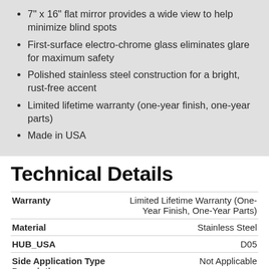7" x 16" flat mirror provides a wide view to help minimize blind spots
First-surface electro-chrome glass eliminates glare for maximum safety
Polished stainless steel construction for a bright, rust-free accent
Limited lifetime warranty (one-year finish, one-year parts)
Made in USA
Technical Details
|  |  |
| --- | --- |
| Warranty | Limited Lifetime Warranty (One-Year Finish, One-Year Parts) |
| Material | Stainless Steel |
| HUB_USA | D05 |
| Side Application Type Description | Not Applicable |
| Finish | POLISHED STAINLESS |